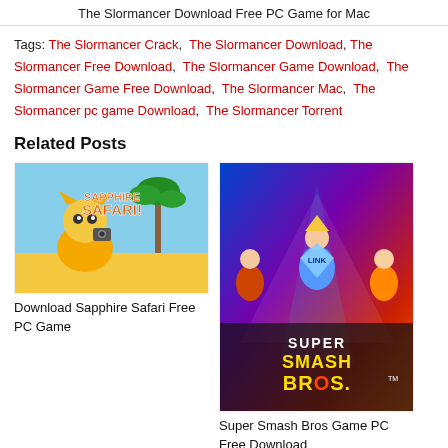The Slormancer Download Free PC Game for Mac
Tags: The Slormancer Crack, The Slormancer Download, The Slormancer Free Download, The Slormancer Game Download, The Slormancer Game Free Download, The Slormancer Mac, The Slormancer pc game Download, The Slormancer Torrent
Related Posts
[Figure (photo): Sapphire Safari game cover art with colorful cartoon characters on a beach background]
Download Sapphire Safari Free PC Game
[Figure (photo): Super Smash Bros game cover art with multiple Nintendo characters in action poses]
Super Smash Bros Game PC Free Download